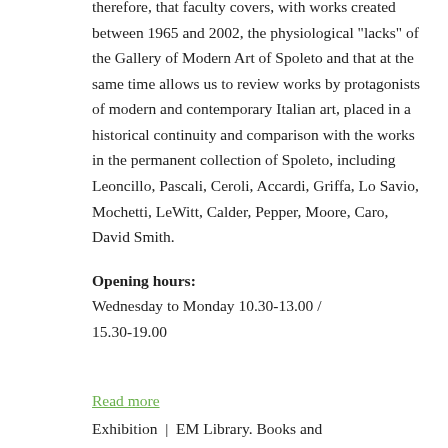therefore, that faculty covers, with works created between 1965 and 2002, the physiological “lacks” of the Gallery of Modern Art of Spoleto and that at the same time allows us to review works by protagonists of modern and contemporary Italian art, placed in a historical continuity and comparison with the works in the permanent collection of Spoleto, including Leoncillo, Pascali, Ceroli, Accardi, Griffa, Lo Savio, Mochetti, LeWitt, Calder, Pepper, Moore, Caro, David Smith.
Opening hours: Wednesday to Monday 10.30-13.00 / 15.30-19.00
Read more
Exhibition | EM Library. Books and